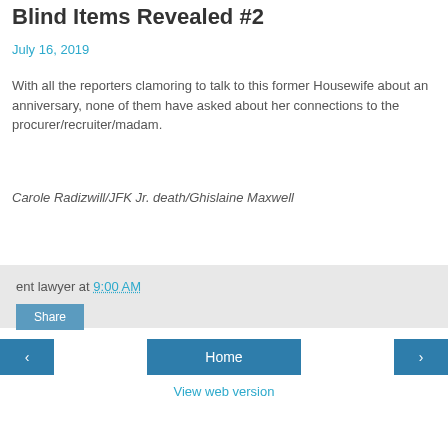Blind Items Revealed #2
July 16, 2019
With all the reporters clamoring to talk to this former Housewife about an anniversary, none of them have asked about her connections to the procurer/recruiter/madam.
Carole Radizwill/JFK Jr. death/Ghislaine Maxwell
ent lawyer at 9:00 AM
Share
‹   Home   ›   View web version